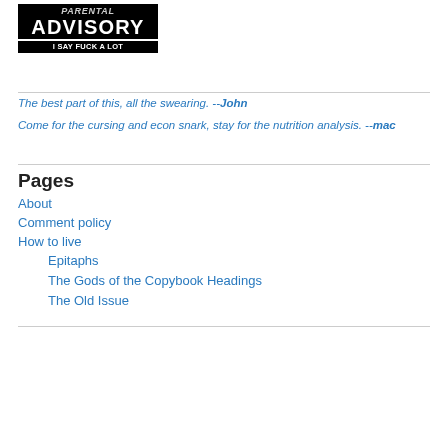[Figure (logo): Black background logo block reading 'ADVISORY / I SAY FUCK A LOT' in bold white text]
The best part of this, all the swearing. --John
Come for the cursing and econ snark, stay for the nutrition analysis. --mac
Pages
About
Comment policy
How to live
Epitaphs
The Gods of the Copybook Headings
The Old Issue